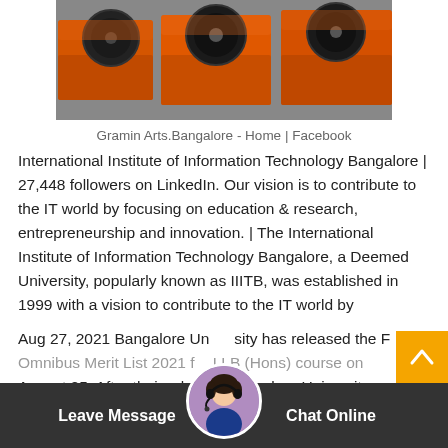[Figure (photo): Orange industrial jaw crusher / mining machines on a concrete floor]
Gramin Arts.Bangalore - Home | Facebook
International Institute of Information Technology Bangalore | 27,448 followers on LinkedIn. Our vision is to contribute to the IT world by focusing on education & research, entrepreneurship and innovation. | The International Institute of Information Technology Bangalore, a Deemed University, popularly known as IIITB, was established in 1999 with a vision to contribute to the IT world by
Aug 27, 2021 Bangalore University has released the Final Omnibus Merit List 2021 for LLB (Hons) course on August 25. After their release, Bangalore University
Leave Message   Chat Online